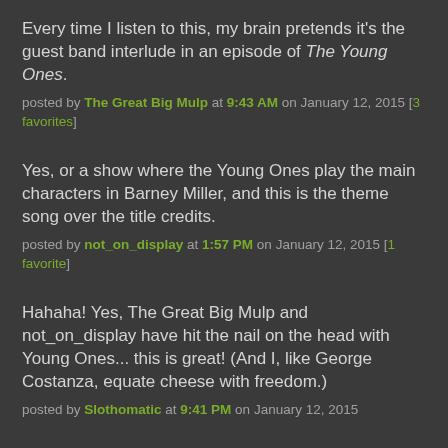Every time I listen to this, my brain pretends it's the guest band interlude in an episode of The Young Ones.
posted by The Great Big Mulp at 9:43 AM on January 12, 2015 [3 favorites]
Yes, or a show where the Young Ones play the main characters in Barney Miller, and this is the theme song over the title credits.
posted by not_on_display at 1:57 PM on January 12, 2015 [1 favorite]
Hahaha! Yes, The Great Big Mulp and not_on_display have hit the nail on the head with Young Ones... this is great! (And I, like George Costanza, equate cheese with freedom.)
posted by Slothomatic at 9:41 PM on January 12, 2015